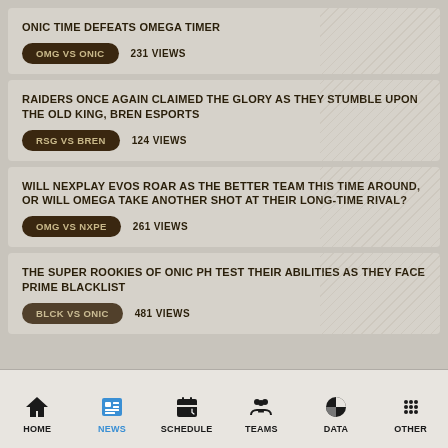ONIC TIME DEFEATS OMEGA TIMER
OMG VS ONIC   231 VIEWS
RAIDERS ONCE AGAIN CLAIMED THE GLORY AS THEY STUMBLE UPON THE OLD KING, BREN ESPORTS
RSG VS BREN   124 VIEWS
WILL NEXPLAY EVOS ROAR AS THE BETTER TEAM THIS TIME AROUND, OR WILL OMEGA TAKE ANOTHER SHOT AT THEIR LONG-TIME RIVAL?
OMG VS NXPE   261 VIEWS
THE SUPER ROOKIES OF ONIC PH TEST THEIR ABILITIES AS THEY FACE PRIME BLACKLIST
BLCK VS ONIC   481 VIEWS
HOME | NEWS | SCHEDULE | TEAMS | DATA | OTHER